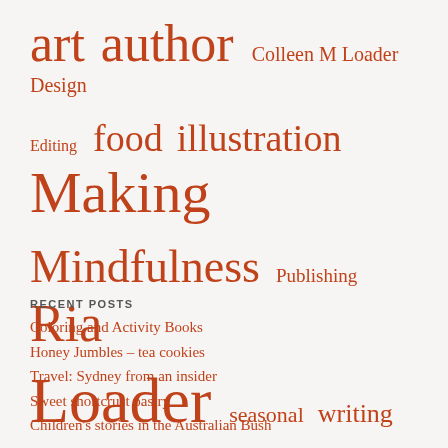[Figure (other): Tag cloud with words of varying sizes in orange/red color on light background. Words include: art, author, Colleen M Loader, Design, Editing, food, illustration, Making, Mindfulness, Publishing, Ria, Loader, seasonal, writing process]
RECENT POSTS
Coloring and Activity Books
Honey Jumbles – tea cookies
Travel: Sydney from an insider
Sweet shortcrust pastry
Children's stories in the Australian Bush